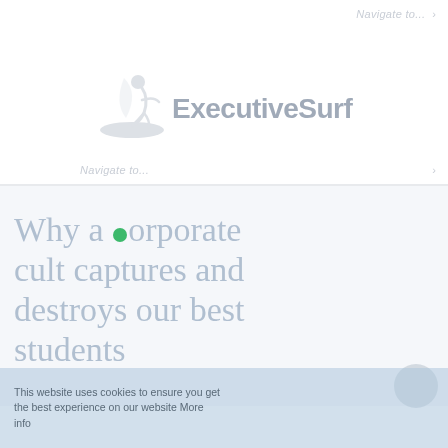Navigate to...  ≥
[Figure (logo): ExecutiveSurf logo with stylized surfer icon and text 'ExecutiveSurf' in grey]
Navigate to...  ≥
Why a corporate cult captures and destroys our best students
This website uses cookies to ensure you get the best experience on our website More info